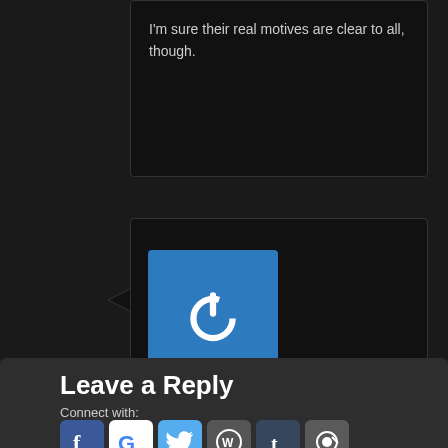I'm sure their real motives are clear to all, though.
[Figure (illustration): Blue square icon with a white power button symbol (circle with a gap at the top and a vertical line through the gap)]
Sadie Jane on 31 December, 2005 at 5:42 PM said:
Very Onion-y. [grin emoji]
Leave a Reply
Connect with:
[Figure (logo): Facebook logo icon - blue square with white 'f']
[Figure (logo): Google logo icon - white square with colorful 'G']
[Figure (logo): Twitter logo icon - blue square with white bird]
[Figure (logo): WordPress logo icon - grey square with 'W' in circle]
[Figure (logo): Tumblr logo icon - dark blue square with white 't']
[Figure (logo): Steam logo icon - grey square with magnifying glass symbol]